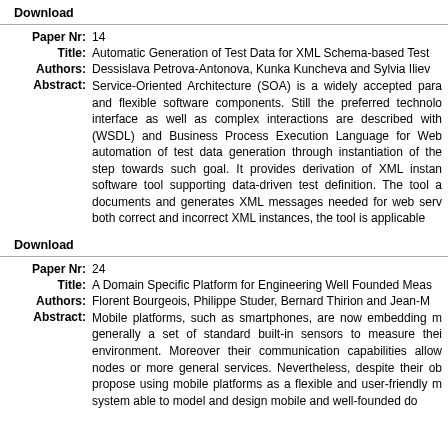Download
| Paper Nr: | 14 |
| Title: | Automatic Generation of Test Data for XML Schema-based Test |
| Authors: | Dessislava Petrova-Antonova, Kunka Kuncheva and Sylvia Iliev |
| Abstract: | Service-Oriented Architecture (SOA) is a widely accepted para and flexible software components. Still the preferred technolo interface as well as complex interactions are described with (WSDL) and Business Process Execution Language for Web automation of test data generation through instantiation of the step towards such goal. It provides derivation of XML instan software tool supporting data-driven test definition. The tool documents and generates XML messages needed for web ser both correct and incorrect XML instances, the tool is applicable |
Download
| Paper Nr: | 24 |
| Title: | A Domain Specific Platform for Engineering Well Founded Meas |
| Authors: | Florent Bourgeois, Philippe Studer, Bernard Thirion and Jean-M |
| Abstract: | Mobile platforms, such as smartphones, are now embedding m generally a set of standard built-in sensors to measure thei environment. Moreover their communication capabilities allow nodes or more general services. Nevertheless, despite their ob propose using mobile platforms as a flexible and user-friendly m system able to model and design mobile and well-founded do |